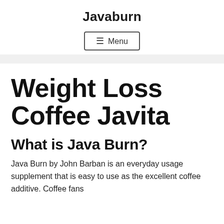Javaburn
≡ Menu
Weight Loss Coffee Javita
What is Java Burn?
Java Burn by John Barban is an everyday usage supplement that is easy to use as the excellent coffee additive. Coffee fans